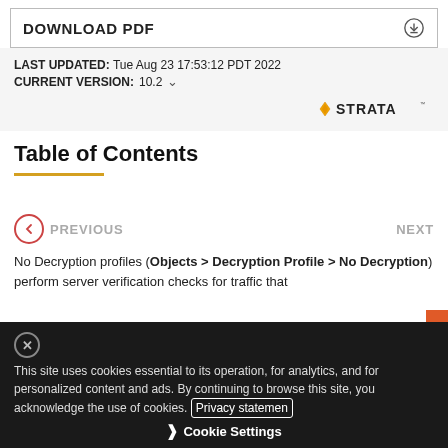DOWNLOAD PDF
LAST UPDATED: Tue Aug 23 17:53:12 PDT 2022
CURRENT VERSION: 10.2
[Figure (logo): Strata logo with orange diamond and STRATA text]
Table of Contents
PREVIOUS    NEXT
No Decryption profiles (Objects > Decryption Profile > No Decryption) perform server verification checks for traffic that
This site uses cookies essential to its operation, for analytics, and for personalized content and ads. By continuing to browse this site, you acknowledge the use of cookies. Privacy statement
Cookie Settings